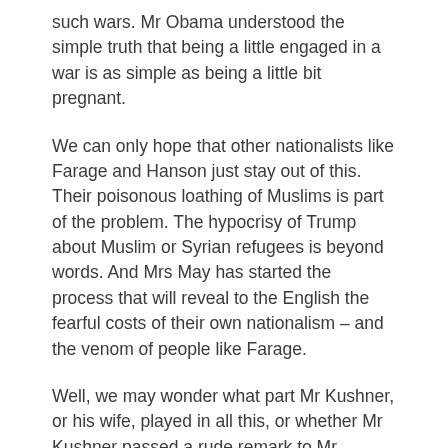such wars.  Mr Obama understood the simple truth that being a little engaged in a war is as simple as being a little bit pregnant.
We can only hope that other nationalists like Farage and Hanson just stay out of this.  Their poisonous loathing of Muslims is part of the problem.  The hypocrisy of Trump about Muslim or Syrian refugees is beyond words.  And Mrs May has started the process that will reveal to the English the fearful costs of their own nationalism – and the venom of people like Farage.
Well, we may wonder what part Mr Kushner, or his wife, played in all this, or whether Mr Kushner passed a rude remark to Mr Bannon while Mr Kushner was coming in, and Mr Bannon was going out.  A lot of acid has been seen dripping out of the White House.